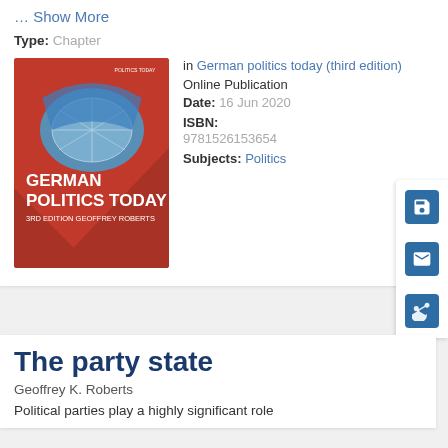... Show More
Type: Chapter
[Figure (illustration): Book cover of 'German Politics Today, 3rd Edition' by Geoffrey Roberts. Red cover with an image of the Reichstag dome. Title in white bold text.]
in German politics today (third edition) Online Publication Date: 16 Jun 2020 ISBN: 9781526153654 Subjects: Politics
The party state
Geoffrey K. Roberts
Political parties play a highly significant role